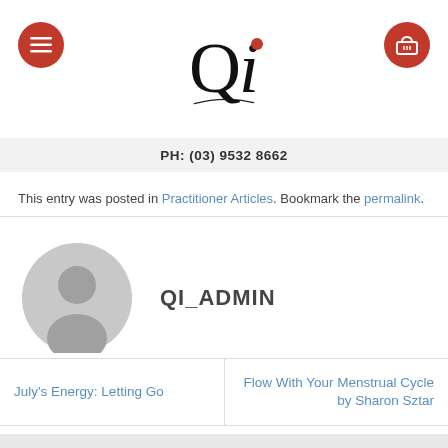[Figure (logo): Qi logo with large serif Q and i, red dot above i, curved underline, with red circular hamburger menu button on left and red circular cart button on right]
PH: (03) 9532 8662
This entry was posted in Practitioner Articles. Bookmark the permalink.
[Figure (photo): Generic grey user avatar silhouette icon]
QI_ADMIN
July's Energy: Letting Go
Flow With Your Menstrual Cycle by Sharon Sztar